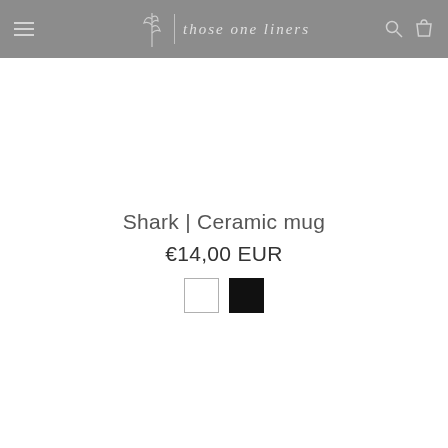those one liners
Shark | Ceramic mug
€14,00 EUR
[Figure (other): Two color swatches: white square with grey border and black filled square]